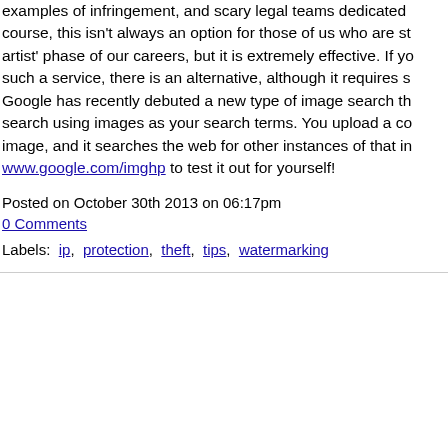examples of infringement, and scary legal teams dedicated to course, this isn't always an option for those of us who are st artist' phase of our careers, but it is extremely effective. If yo such a service, there is an alternative, although it requires s Google has recently debuted a new type of image search th search using images as your search terms. You upload a co image, and it searches the web for other instances of that in www.google.com/imghp to test it out for yourself!
Posted on October 30th 2013 on 06:17pm
0 Comments
Labels: ip, protection, theft, tips, watermarking